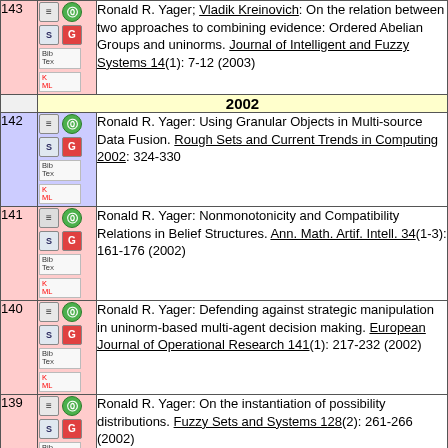| # | Icons | Reference |
| --- | --- | --- |
| 143 | [icons] | Ronald R. Yager; Vladik Kreinovich: On the relation between two approaches to combining evidence: Ordered Abelian Groups and uninorms. Journal of Intelligent and Fuzzy Systems 14(1): 7-12 (2003) |
|  | 2002 |  |
| 142 | [icons] | Ronald R. Yager: Using Granular Objects in Multi-source Data Fusion. Rough Sets and Current Trends in Computing 2002: 324-330 |
| 141 | [icons] | Ronald R. Yager: Nonmonotonicity and Compatibility Relations in Belief Structures. Ann. Math. Artif. Intell. 34(1-3): 161-176 (2002) |
| 140 | [icons] | Ronald R. Yager: Defending against strategic manipulation in uninorm-based multi-agent decision making. European Journal of Operational Research 141(1): 217-232 (2002) |
| 139 | [icons] | Ronald R. Yager: On the instantiation of possibility distributions. Fuzzy Sets and Systems 128(2): 261-266 (2002) |
| 138 | [icons] | Ronald R. Yager: Querying databases containing multivalued attributes using veristic variables. Fuzzy Sets and Systems 129(2): 163-185 (2002) |
| 137 | [icons] | Ronald R. Yager: Uncertainty representation using... |